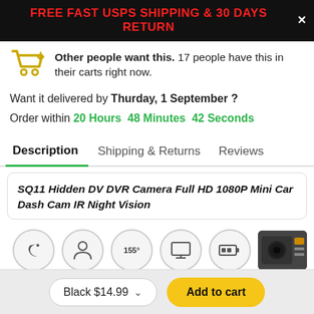FREE FAST USPS SHIPPING & 30 DAYS RETURN
Other people want this. 17 people have this in their carts right now.
Want it delivered by Thurday, 1 September ?
Order within 20 Hours 48 Minutes 42 Seconds
Description | Shipping & Returns | Reviews
SQ11 Hidden DV DVR Camera Full HD 1080P Mini Car Dash Cam IR Night Vision
[Figure (other): Row of circular feature icons for the product and a small camera image on the right]
Black $14.99    Add to cart